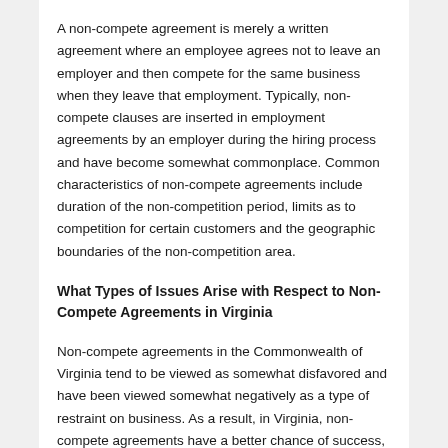A non-compete agreement is merely a written agreement where an employee agrees not to leave an employer and then compete for the same business when they leave that employment. Typically, non-compete clauses are inserted in employment agreements by an employer during the hiring process and have become somewhat commonplace. Common characteristics of non-compete agreements include duration of the non-competition period, limits as to competition for certain customers and the geographic boundaries of the non-competition area.
What Types of Issues Arise with Respect to Non-Compete Agreements in Virginia
Non-compete agreements in the Commonwealth of Virginia tend to be viewed as somewhat disfavored and have been viewed somewhat negatively as a type of restraint on business. As a result, in Virginia, non-compete agreements have a better chance of success, if enforcement is attempted, the more narrowly tailored that they are. Courts in Virginia will enforce reasonable non-